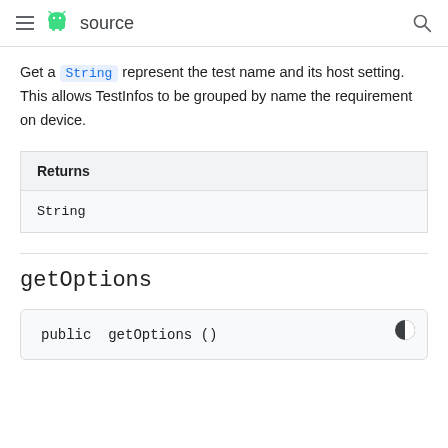≡ 🤖 source 🔍
Get a String represent the test name and its host setting. This allows TestInfos to be grouped by name the requirement on device.
| Returns |
| --- |
| String |
getOptions
public  getOptions ()